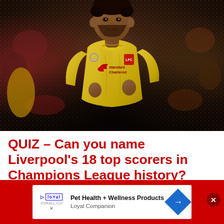[Figure (photo): Mohamed Salah in a yellow Liverpool Champions League away kit (Standard Chartered sponsor), running on a football pitch with a blurred crowd in the background.]
QUIZ – Can you name Liverpool's 18 top scorers in Champions League history?
[Figure (other): Advertisement banner for 'Loyal Companion' pet health and wellness products, with Loyal logo, arrow navigation icon, and a close button.]